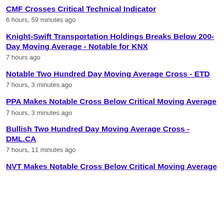CMF Crosses Critical Technical Indicator
6 hours, 59 minutes ago
Knight-Swift Transportation Holdings Breaks Below 200-Day Moving Average - Notable for KNX
7 hours ago
Notable Two Hundred Day Moving Average Cross - ETD
7 hours, 3 minutes ago
PPA Makes Notable Cross Below Critical Moving Average
7 hours, 3 minutes ago
Bullish Two Hundred Day Moving Average Cross - DML.CA
7 hours, 11 minutes ago
NVT Makes Notable Cross Below Critical Moving Average